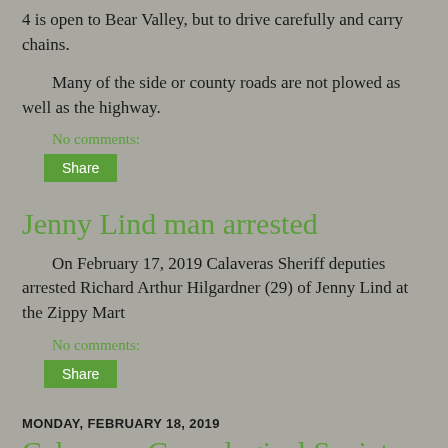4 is open to Bear Valley, but to drive carefully and carry chains.
Many of the side or county roads are not plowed as well as the highway.
No comments:
Share
Jenny Lind man arrested
On February 17, 2019 Calaveras Sheriff deputies arrested Richard Arthur Hilgardner (29) of Jenny Lind at the Zippy Mart
No comments:
Share
MONDAY, FEBRUARY 18, 2019
Calaveras Genealogical Society...